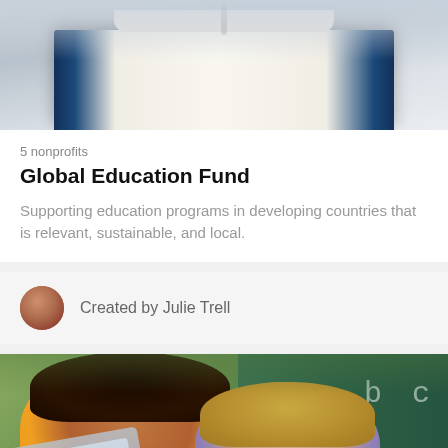[Figure (photo): Open book photographed from above against a light background, showing pages spread open with a dark blue cover]
5 nonprofits
Global Education Fund
Supporting education programs in developing countries that is relevant, sustainable, and local.
Created by Julie Trell
[Figure (photo): Two young girls smiling and looking at a laptop in a classroom with a chalkboard in the background showing letters and numbers]